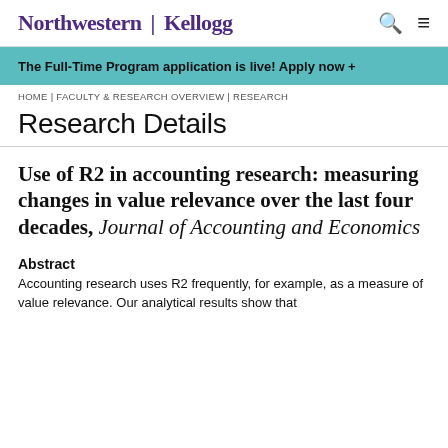Northwestern | Kellogg
The Full-Time Program application is live! Apply now +
HOME | FACULTY & RESEARCH OVERVIEW | RESEARCH
Research Details
Use of R2 in accounting research: measuring changes in value relevance over the last four decades, Journal of Accounting and Economics
Abstract
Accounting research uses R2 frequently, for example, as a measure of value relevance. Our analytical results show that